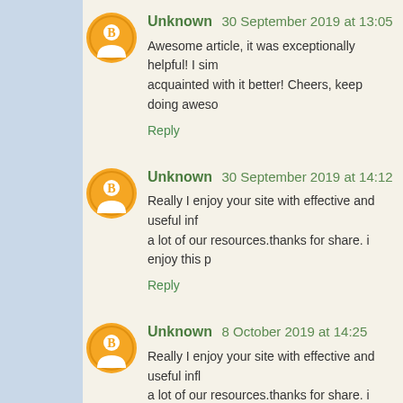Unknown 30 September 2019 at 13:05
Awesome article, it was exceptionally helpful! I sim acquainted with it better! Cheers, keep doing aweso
Reply
Unknown 30 September 2019 at 14:12
Really I enjoy your site with effective and useful inf a lot of our resources.thanks for share. i enjoy this p
Reply
Unknown 8 October 2019 at 14:25
Really I enjoy your site with effective and useful infl a lot of our resources.thanks for share. i enjoy this p
Reply
saim 13 October 2019 at 09:55